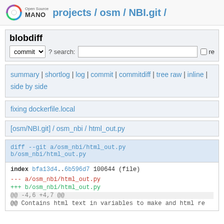Open Source MANO projects / osm / NBI.git /
blobdiff
commit ? search: re
summary | shortlog | log | commit | commitdiff | tree raw | inline | side by side
fixing dockerfile.local
[osm/NBI.git] / osm_nbi / html_out.py
diff --git a/osm_nbi/html_out.py b/osm_nbi/html_out.py
index bfa13d4..6b596d7 100644 (file)
--- a/osm_nbi/html_out.py
+++ b/osm_nbi/html_out.py
@@ -4,6 +4,7 @@
@@ Contains html text in variables to make and html re